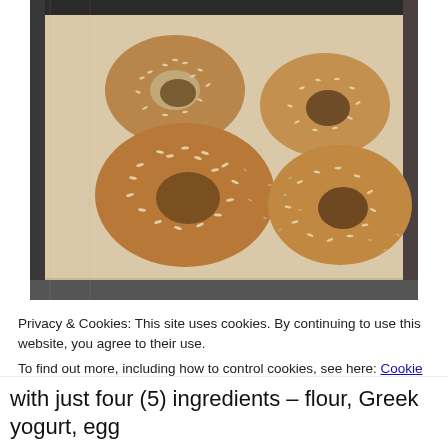[Figure (photo): Four sesame-seed bagels on parchment paper on a baking tray, seen from above. The bagels are golden-brown and topped with sesame seeds.]
Privacy & Cookies: This site uses cookies. By continuing to use this website, you agree to their use.
To find out more, including how to control cookies, see here: Cookie Policy
Close and accept
with just four (5) ingredients – flour, Greek yogurt, egg